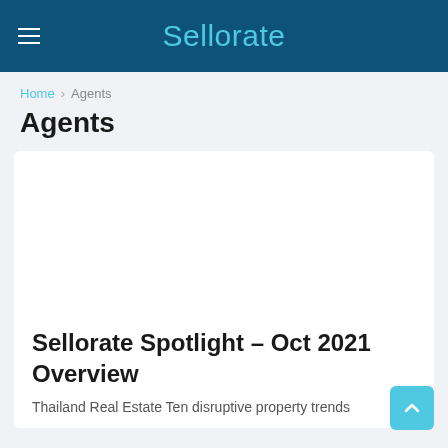Sellorate
Home > Agents
Agents
[Figure (other): White card image placeholder area (blank/white rectangle)]
Sellorate Spotlight – Oct 2021 Overview
Thailand Real Estate Ten disruptive property trends